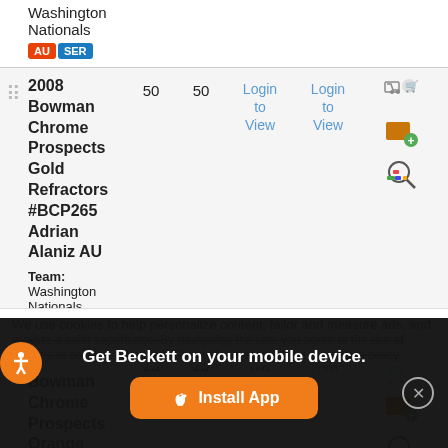Washington Nationals AU SER
2008 Bowman Chrome Prospects Gold Refractors #BCP265 Adrian Alaniz AU
Team: Washington Nationals AU SER
50 50 Login to View Login to View
2008 Bowman Chrome Prospects Orange
25 25 n/a n/a
We use cookies to help personalize content, tailor and measure ads, and provide a safer experience. By navigating the site, you agree to the use of cookies to collect information. Click to learn more about our cookie policy.
Get Beckett on your mobile device.
Install App